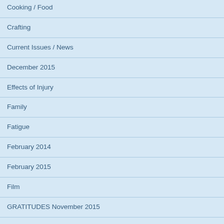Cooking / Food
Crafting
Current Issues / News
December 2015
Effects of Injury
Family
Fatigue
February 2014
February 2015
Film
GRATITUDES November 2015
Grief and Loss
Health Care
House Hunting
January 2014
January 2015